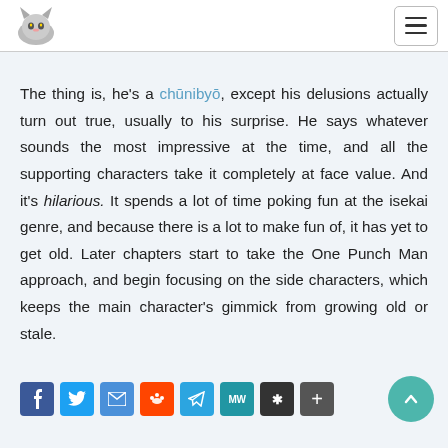[Logo] [Hamburger menu]
The thing is, he's a chūnibyō, except his delusions actually turn out true, usually to his surprise. He says whatever sounds the most impressive at the time, and all the supporting characters take it completely at face value. And it's hilarious. It spends a lot of time poking fun at the isekai genre, and because there is a lot to make fun of, it has yet to get old. Later chapters start to take the One Punch Man approach, and begin focusing on the side characters, which keeps the main character's gimmick from growing old or stale.
[Figure (other): Social sharing buttons: Facebook, Twitter, Email, Reddit, Telegram, MeWe, Mix, Share; with a teal back-to-top button]